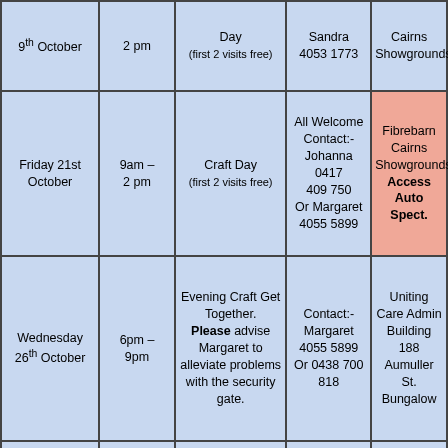| Date | Time | Activity | Contact | Location |
| --- | --- | --- | --- | --- |
| 9th October | 2 pm | Day
(first 2 visits free) | Sandra
4053 1773 | Cairns Showgrounds |
| Friday 21st October | 9am – 2 pm | Craft Day
(first 2 visits free) | All Welcome Contact:-
Johanna 0417 409 750
Or Margaret 4055 5899 | Fibrebarn Cairns Showgrounds
Access Auto Spect. |
| Wednesday 26th October | 6pm – 9pm | Evening Craft Get Together. Please advise Margaret to alleviate problems with the security gate. | Contact:- Margaret 4055 5899
Or 0438 700 818 | Uniting Care Admin Building
188 Aumuller St.
Bungalow |
| Friday 28th October | 9am – | Craft Day | All Welcome Contact:- Johanna 0417 | Fibrebarn Cairns Showgrounds |